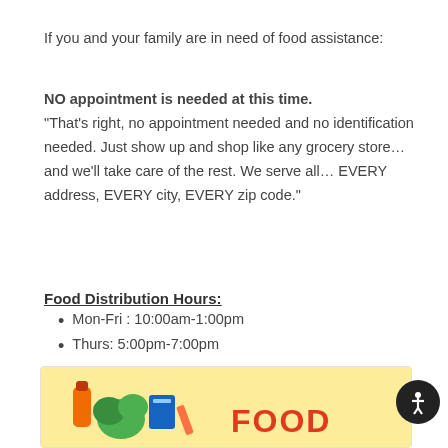If you and your family are in need of food assistance:
NO appointment is needed at this time. "That’s right, no appointment needed and no identification needed. Just show up and shop like any grocery store… and we’ll take care of the rest. We serve all… EVERY address, EVERY city, EVERY zip code."
Food Distribution Hours:
Mon-Fri : 10:00am-1:00pm
Thurs: 5:00pm-7:00pm
Client Information Link: 253-863-3793
Food Bank Address: 15625 Maine Street E. Sumner, WA
[Figure (illustration): Food bank promotional banner with colorful food illustrations on a yellow background and 'FOOD' text in red.]